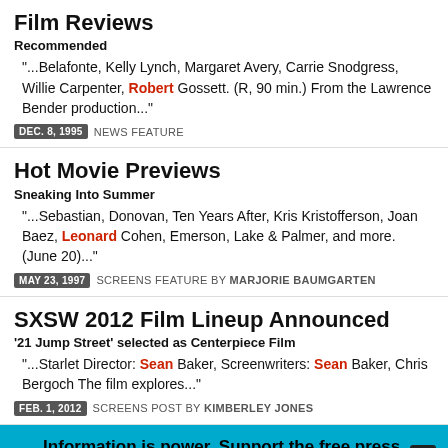Film Reviews
Recommended
"...Belafonte, Kelly Lynch, Margaret Avery, Carrie Snodgress, Willie Carpenter, Robert Gossett. (R, 90 min.) From the Lawrence Bender production..."
DEC. 8, 1995  NEWS FEATURE
Hot Movie Previews
Sneaking Into Summer
"...Sebastian, Donovan, Ten Years After, Kris Kristofferson, Joan Baez, Leonard Cohen, Emerson, Lake & Palmer, and more. (June 20)..."
MAY 23, 1997  SCREENS FEATURE BY MARJORIE BAUMGARTEN
SXSW 2012 Film Lineup Announced
'21 Jump Street' selected as Centerpiece Film
"...Starlet Director: Sean Baker, Screenwriters: Sean Baker, Chris Bergoch The film explores..."
FEB. 1, 2012  SCREENS POST BY KIMBERLEY JONES
Information is power. Support the free press, so we can support Austin.